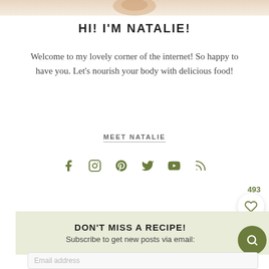[Figure (photo): Partial food photo at top of page]
HI! I'M NATALIE!
Welcome to my lovely corner of the internet! So happy to have you. Let's nourish your body with delicious food!
MEET NATALIE
[Figure (infographic): Social media icons: Facebook, Instagram, Pinterest, Twitter, YouTube, RSS — all in olive green]
493
DON'T MISS A RECIPE!
Subscribe to get new posts via email:
Email address